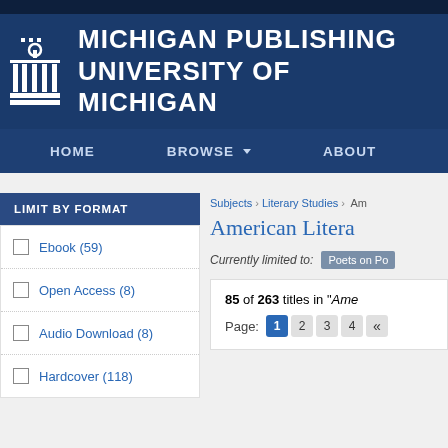MICHIGAN PUBLISHING
UNIVERSITY OF MICHIGAN
HOME    BROWSE ▼    ABOUT
LIMIT BY FORMAT
Ebook (59)
Open Access (8)
Audio Download (8)
Hardcover (118)
Subjects › Literary Studies › Am
American Litera
Currently limited to: Poets on Po
85 of 263 titles in "Ame
Page: 1 2 3 4 «